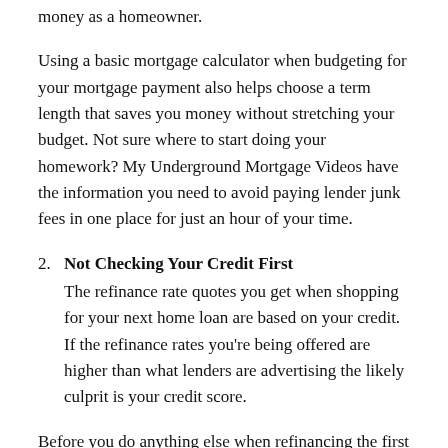money as a homeowner.
Using a basic mortgage calculator when budgeting for your mortgage payment also helps choose a term length that saves you money without stretching your budget. Not sure where to start doing your homework? My Underground Mortgage Videos have the information you need to avoid paying lender junk fees in one place for just an hour of your time.
2. Not Checking Your Credit First
The refinance rate quotes you get when shopping for your next home loan are based on your credit. If the refinance rates you’re being offered are higher than what lenders are advertising the likely culprit is your credit score.
Before you do anything else when refinancing the first thing you need to do is check your credit score from...